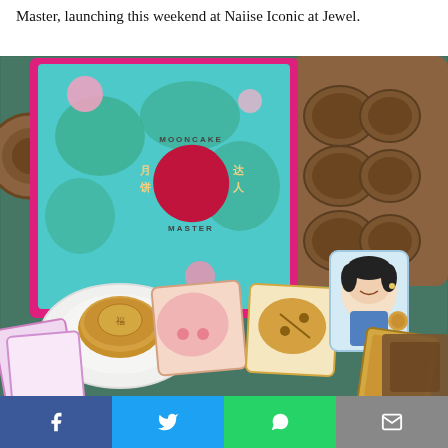Master, launching this weekend at Naiise Iconic at Jewel.
[Figure (photo): Photo of the Mooncake Master board game box with teal and pink design, alongside mooncake baking molds, a real mooncake on a white plate, and game cards spread on a patterned textile surface.]
Social share bar with Facebook, Twitter, WhatsApp, and Email buttons